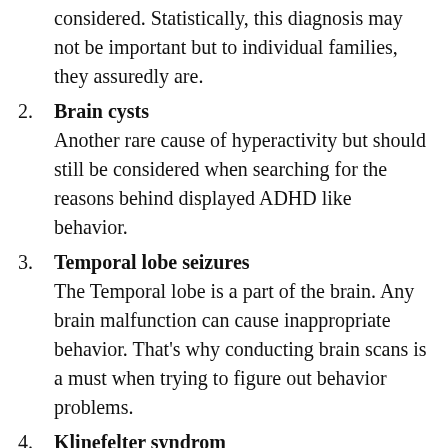considered. Statistically, this diagnosis may not be important but to individual families, they assuredly are.
Brain cysts
Another rare cause of hyperactivity but should still be considered when searching for the reasons behind displayed ADHD like behavior.
Temporal lobe seizures
The Temporal lobe is a part of the brain. Any brain malfunction can cause inappropriate behavior. That’s why conducting brain scans is a must when trying to figure out behavior problems.
Klinefelter syndrom
A Genetic disorder in which a male has an